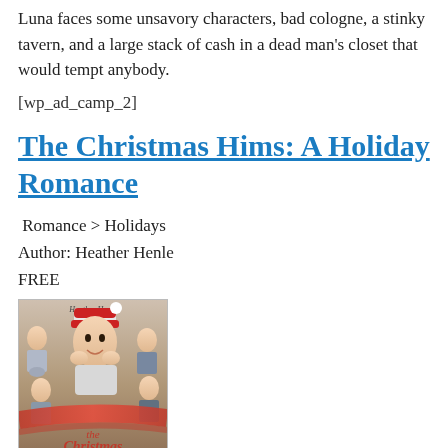Luna faces some unsavory characters, bad cologne, a stinky tavern, and a large stack of cash in a dead man’s closet that would tempt anybody.
[wp_ad_camp_2]
The Christmas Hims: A Holiday Romance
Romance > Holidays
Author: Heather Henle
FREE
[Figure (photo): Book cover of 'The Christmas Hims' by Heather Henle, showing a woman in a Santa hat surrounded by several men, with red ribbon decoration and script title text at the bottom.]